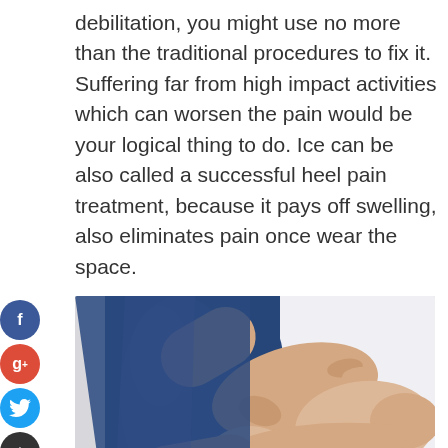debilitation, you might use no more than the traditional procedures to fix it. Suffering far from high impact activities which can worsen the pain would be your logical thing to do. Ice can be also called a successful heel pain treatment, because it pays off swelling, also eliminates pain once wear the space.
[Figure (photo): A person in blue jeans holding their foot/ankle area with both hands, illustrating heel or foot pain. Light gray/white background.]
These easy procedures, together side wearing comfy footwear help get rid of pain. If the pain is significantly more